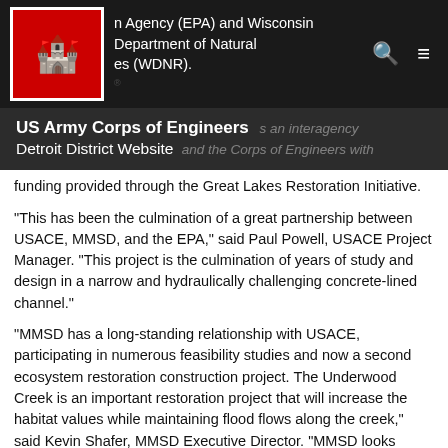n Agency (EPA) and Wisconsin Department of Natural es (WDNR).
US Army Corps of Engineers Detroit District Website
funding provided through the Great Lakes Restoration Initiative.
“This has been the culmination of a great partnership between USACE, MMSD, and the EPA,” said Paul Powell, USACE Project Manager. “This project is the culmination of years of study and design in a narrow and hydraulically challenging concrete-lined channel.”
“MMSD has a long-standing relationship with USACE, participating in numerous feasibility studies and now a second ecosystem restoration construction project. The Underwood Creek is an important restoration project that will increase the habitat values while maintaining flood flows along the creek,” said Kevin Shafer, MMSD Executive Director. “MMSD looks forward to partnering with the Corps on future projects to restore habitats and ecosystems in a similar manner.”
The proposed project will focus on providing fish passage and